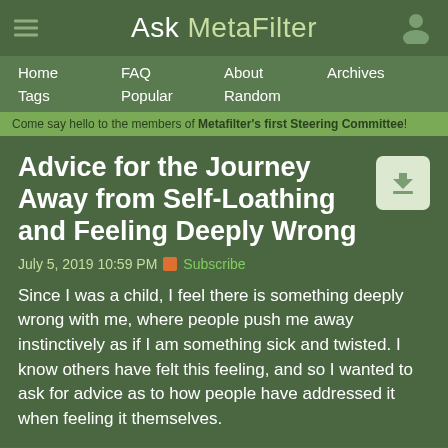Ask MetaFilter
Home  FAQ  About  Archives  Tags  Popular  Random
Come say hello to the members of Metafilter's first Steering Committee!
Advice for the Journey Away from Self-Loathing and Feeling Deeply Wrong
July 5, 2019 10:59 PM  Subscribe
Since I was a child, I feel there is something deeply wrong with me, where people push me away instinctively as if I am something sick and twisted. I know others have felt this feeling, and so I wanted to ask for advice as to how people have addressed it when feeling it themselves.